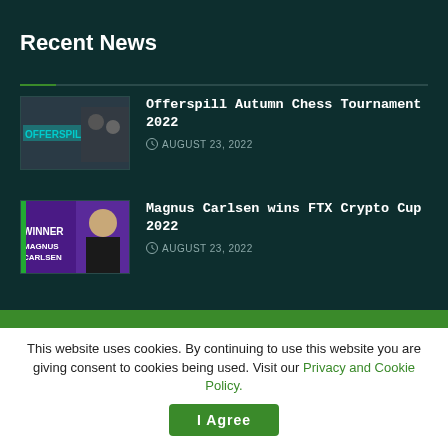Recent News
Offerspill Autumn Chess Tournament 2022
AUGUST 23, 2022
Magnus Carlsen wins FTX Crypto Cup 2022
AUGUST 23, 2022
This website uses cookies. By continuing to use this website you are giving consent to cookies being used. Visit our Privacy and Cookie Policy.
I Agree